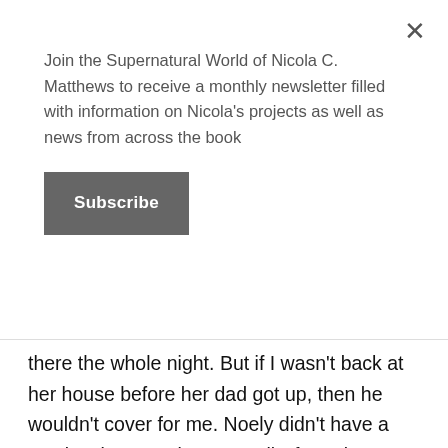Join the Supernatural World of Nicola C. Matthews to receive a monthly newsletter filled with information on Nicola's projects as well as news from across the book
Subscribe
there the whole night. But if I wasn't back at her house before her dad got up, then he wouldn't cover for me. Noely didn't have a car, just borrowed Mr. Ferrell's from time to time, and in all honesty, even if there was someone left at the house to carry me back to April's, they were so FUBAR that I wouldn't trust them to drive me. It was looking like I really was screwed, and not in the way that I had wanted.
“Beer run?” Noely repeated my question, seeming to mull it over a bit before shrugging. “Could be,” he said, walking